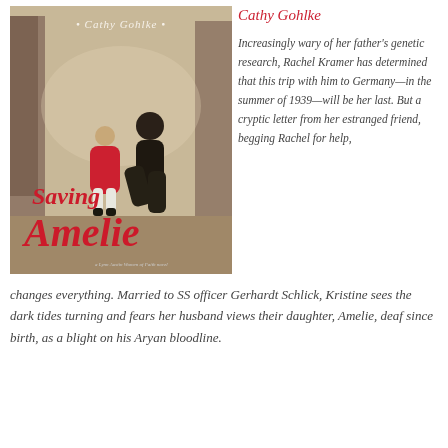[Figure (illustration): Book cover of 'Saving Amelie' by Cathy Gohlke. Shows two figures—an adult and a child in a red coat—in a wintery alley. Title 'Saving Amelie' appears in red script lettering at the bottom, with the author name 'Cathy Gohlke' at the top.]
Cathy Gohlke
Increasingly wary of her father's genetic research, Rachel Kramer has determined that this trip with him to Germany—in the summer of 1939—will be her last. But a cryptic letter from her estranged friend, begging Rachel for help, changes everything. Married to SS officer Gerhardt Schlick, Kristine sees the dark tides turning and fears her husband views their daughter, Amelie, deaf since birth, as a blight on his Aryan bloodline.